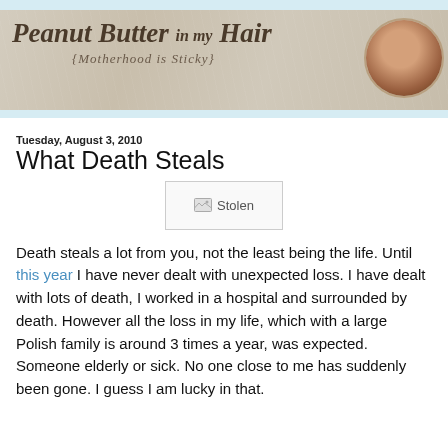[Figure (illustration): Blog header banner for 'Peanut Butter in my Hair {Motherhood is Sticky}' with crinkled paper background texture and circular photo of a woman drinking from a mug in the top-right corner.]
Tuesday, August 3, 2010
What Death Steals
[Figure (photo): A broken/stolen image placeholder labeled 'Stolen']
Death steals a lot from you, not the least being the life. Until this year I have never dealt with unexpected loss. I have dealt with lots of death, I worked in a hospital and surrounded by death. However all the loss in my life, which with a large Polish family is around 3 times a year, was expected. Someone elderly or sick. No one close to me has suddenly been gone. I guess I am lucky in that.